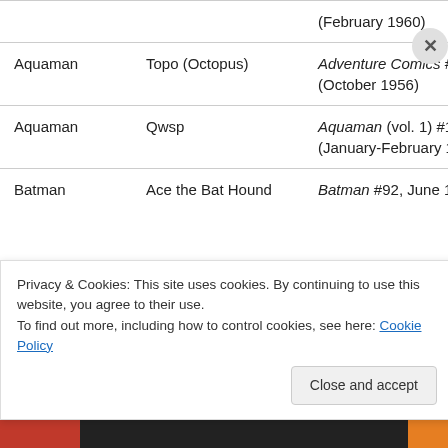| Character | Pet/Animal | First Appearance |
| --- | --- | --- |
|  |  | (February 1960) |
| Aquaman | Topo (Octopus) | Adventure Comics #229 (October 1956) |
| Aquaman | Qwsp | Aquaman (vol. 1) #1 (January-February 1962) |
| Batman | Ace the Bat Hound | Batman #92, June 1955 |
Privacy & Cookies: This site uses cookies. By continuing to use this website, you agree to their use. To find out more, including how to control cookies, see here: Cookie Policy
Close and accept